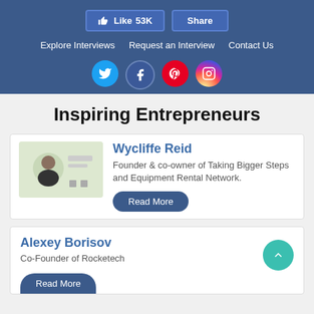Like 53K   Share   Explore Interviews   Request an Interview   Contact Us
Inspiring Entrepreneurs
Wycliffe Reid
Founder & co-owner of Taking Bigger Steps and Equipment Rental Network.
Alexey Borisov
Co-Founder of Rocketech